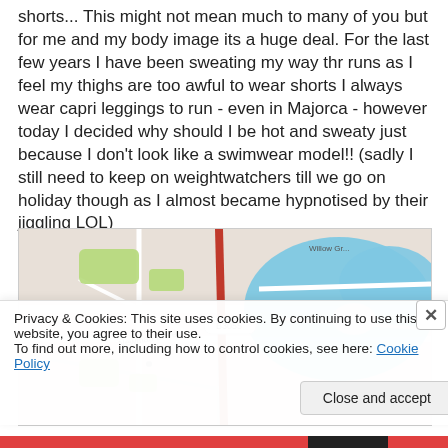shorts... This might not mean much to many of you but for me and my body image its a huge deal. For the last few years I have been sweating my way thr runs as I feel my thighs are too awful to wear shorts I always wear capri leggings to run - even in Majorca - however today I decided why should I be hot and sweaty just because I don't look like a swimwear model!! (sadly I still need to keep on weightwatchers till we go on holiday though as I almost became hypnotised by their jiggling LOL)
[Figure (map): A road map showing Newman Drive and nearby roads, with a large blue water body on the right side of the map. A red road runs vertically through the center.]
Privacy & Cookies: This site uses cookies. By continuing to use this website, you agree to their use.
To find out more, including how to control cookies, see here: Cookie Policy
Close and accept